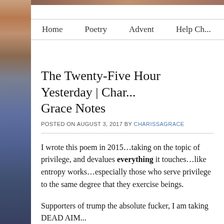Home  Poetry  Advent  Help Ch...
The Twenty-Five Hour Yesterday | Char... Grace Notes
POSTED ON AUGUST 3, 2017 BY CHARISSAGRACE
I wrote this poem in 2015...taking on the topic of privilege, and devalues everything it touches...like entropy works...especially those who serve privilege to the same degree that they exercise beings.
Supporters of trump the absolute fucker, I am taking DEAD AIM...